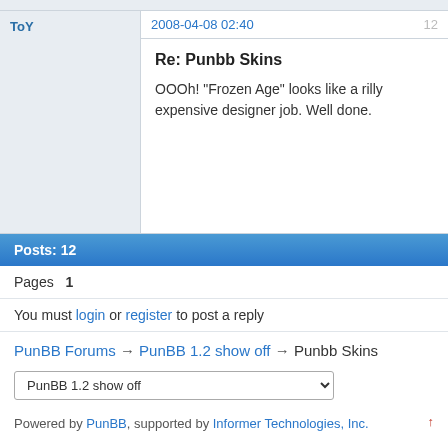ToY
2008-04-08 02:40
12
Re: Punbb Skins
OOOh! "Frozen Age" looks like a rilly expensive designer job. Well done.
Posts: 12
Pages  1
You must login or register to post a reply
PunBB Forums → PunBB 1.2 show off → Punbb Skins
PunBB 1.2 show off
Powered by PunBB, supported by Informer Technologies, Inc.